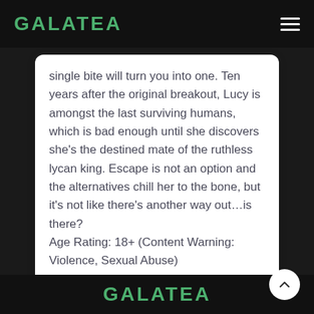GALATEA
single bite will turn you into one. Ten years after the original breakout, Lucy is amongst the last surviving humans, which is bad enough until she discovers she's the destined mate of the ruthless lycan king. Escape is not an option and the alternatives chill her to the bone, but it's not like there's another way out…is there?
Age Rating: 18+ (Content Warning: Violence, Sexual Abuse)
GALATEA